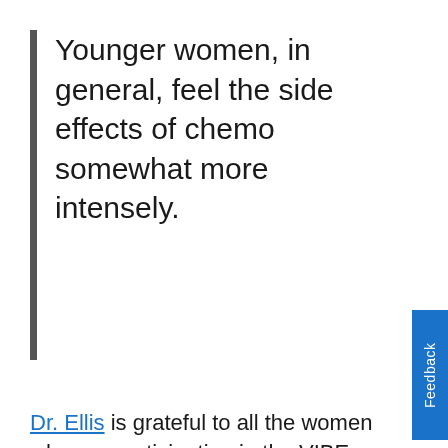Younger women, in general, feel the side effects of chemo somewhat more intensely.
Dr. Ellis is grateful to all the women who are participating in the VIBE study - and the philanthropic support that is making her research possible - but Katie's age made her contribution especially notable. "Younger women, in general, feel the side effects of chemo somewhat more intensely," Dr. Ellis says. "They tolerate it fine, but it can be a